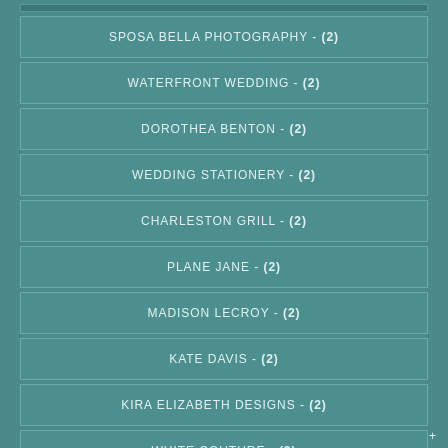SPOSA BELLA PHOTOGRAPHY - (2)
WATERFRONT WEDDING - (2)
DOROTHEA BENTON - (2)
WEDDING STATIONERY - (2)
CHARLESTON GRILL - (2)
PLANE JANE - (2)
MADISON LECROY - (2)
KATE DAVIS - (2)
KIRA ELIZABETH DESIGNS - (2)
WHITE COUTURE - (2)